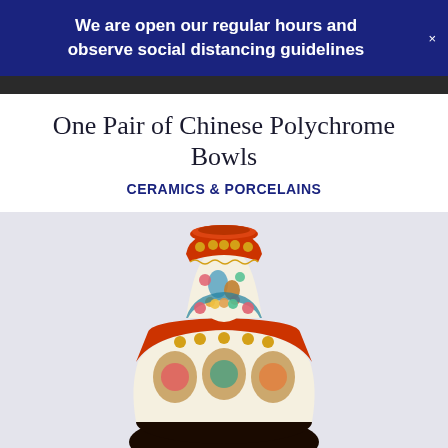We are open our regular hours and observe social distancing guidelines
One Pair of Chinese Polychrome Bowls
CERAMICS & PORCELAINS
[Figure (photo): A decorative Chinese polychrome ceramic vase with elaborate floral and bird motifs, featuring red, blue, gold, and teal colors with a flared neck decorated with a red and gold scalloped border]